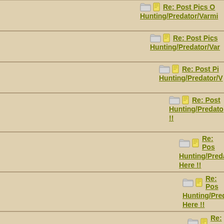Re: Post Pics Of Your Hunting/Predator/Varmi...
Re: Post Pics Hunting/Predator/Var...
Re: Post Pi Hunting/Predator/V...
Re: Post Hunting/Predato... !!
Re: Pos Hunting/Preda... Here !!
Re: Pos Hunting/Preda... Here !!
Re: P Hunting/Pre... Here !!
Re: Hunting/P... Here !!
Re: P Hunting/Pre...